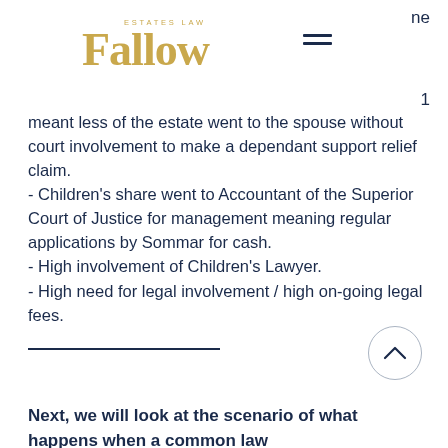ne
[Figure (logo): Fallow Estates Law logo with golden serif text and hamburger menu icon]
1
meant less of the estate went to the spouse without court involvement to make a dependant support relief claim.
- Children's share went to Accountant of the Superior Court of Justice for management meaning regular applications by Sommar for cash.
- High involvement of Children's Lawyer.
- High need for legal involvement / high on-going legal fees.
Next, we will look at the scenario of what happens when a common law